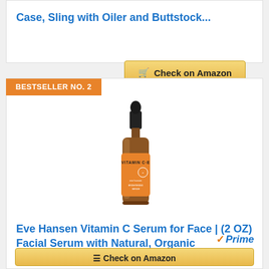Case, Sling with Oiler and Buttstock...
[Figure (other): Check on Amazon button with shopping cart icon]
BESTSELLER NO. 2
[Figure (photo): Eve Hansen Vitamin C+E serum bottle with dropper, amber glass bottle with orange label]
Eve Hansen Vitamin C Serum for Face | (2 OZ) Facial Serum with Natural, Organic Hyaluronic Acid,...
[Figure (logo): Amazon Prime logo with checkmark]
[Figure (other): Check on Amazon button (partially visible)]